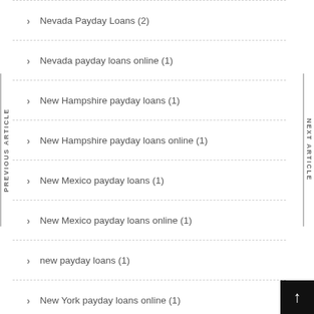Nevada Payday Loans (2)
Nevada payday loans online (1)
New Hampshire payday loans (1)
New Hampshire payday loans online (1)
New Mexico payday loans (1)
New Mexico payday loans online (1)
new payday loans (1)
New York payday loans online (1)